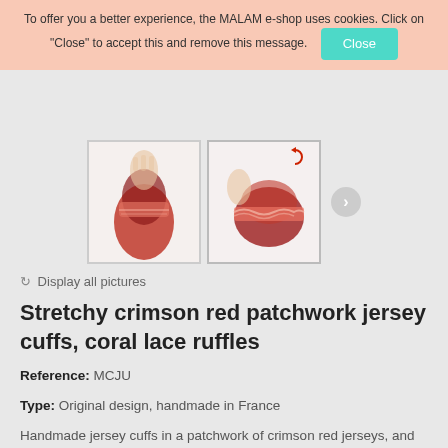To offer you a better experience, the MALAM e-shop uses cookies. Click on "Close" to accept this and remove this message.
[Figure (screenshot): Two thumbnail images of crimson red patchwork jersey cuffs with coral lace ruffles, shown from different angles on a hand/arm. A right-arrow navigation button is visible to the right.]
C Display all pictures
Stretchy crimson red patchwork jersey cuffs, coral lace ruffles
Reference: MCJU
Type: Original design, handmade in France
Handmade jersey cuffs in a patchwork of crimson red jerseys, and hemmed with coral-tone lace pleats.
One size. Only one pair.